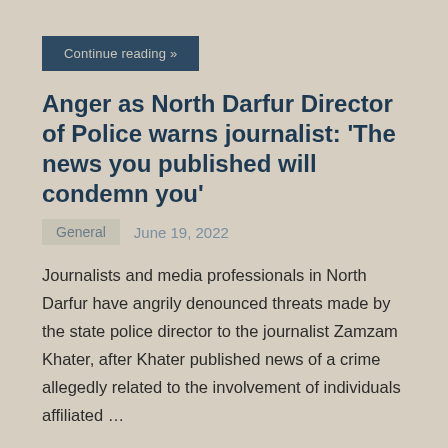Continue reading »
Anger as North Darfur Director of Police warns journalist: ‘The news you published will condemn you’
General    June 19, 2022
Journalists and media professionals in North Darfur have angrily denounced threats made by the state police director to the journalist Zamzam Khater, after Khater published news of a crime allegedly related to the involvement of individuals affiliated …
Continue reading »